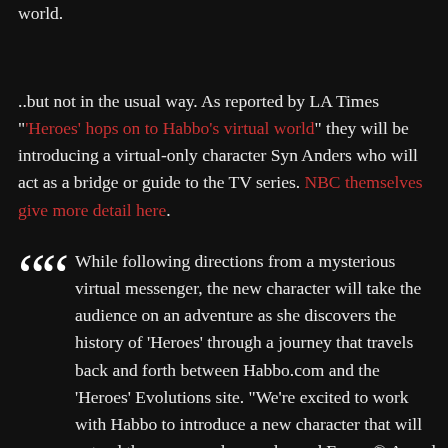world.
..but not in the usual way. As reported by LA Times "'Heroes' hops on to Habbo's virtual world" they will be introducing a virtual-only character Syn Anders who will act as a bridge or guide to the TV series. NBC themselves give more detail here.
While following directions from a mysterious virtual messenger, the new character will take the audience on an adventure as she discovers the history of 'Heroes' through a journey that travels back and forth between Habbo.com and the 'Heroes' Evolutions site. "We're excited to work with Habbo to introduce a new character that will extend the enormously popular and Emmy® Award winning 'Heroes' interactive story beyond the official Web site on NBC.com," said Stephen